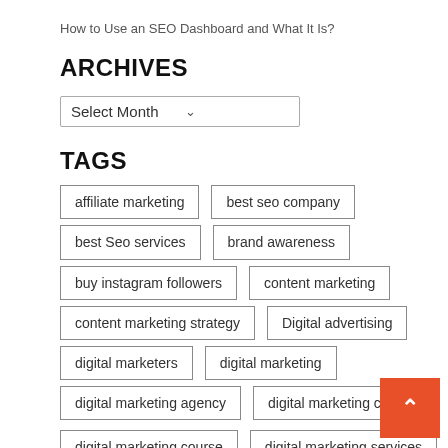How to Use an SEO Dashboard and What It Is?
ARCHIVES
Select Month
TAGS
affiliate marketing
best seo company
best Seo services
brand awareness
buy instagram followers
content marketing
content marketing strategy
Digital advertising
digital marketers
digital marketing
digital marketing agency
digital marketing company
digital marketing course
digital marketing services